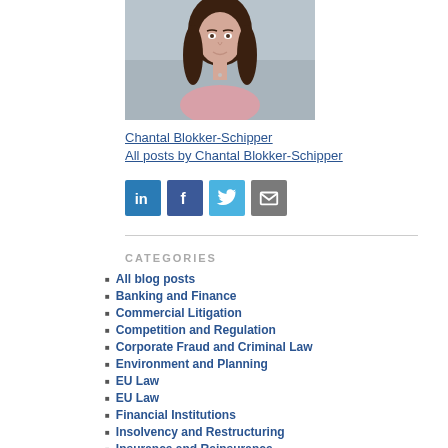[Figure (photo): Portrait photo of Chantal Blokker-Schipper, a woman with long dark hair wearing a pink top]
Chantal Blokker-Schipper
All posts by Chantal Blokker-Schipper
[Figure (infographic): Social media share icons: LinkedIn, Facebook, Twitter, Email]
CATEGORIES
All blog posts
Banking and Finance
Commercial Litigation
Competition and Regulation
Corporate Fraud and Criminal Law
Environment and Planning
EU Law
EU Law
Financial Institutions
Insolvency and Restructuring
Insurance and Reinsurance
Intellectual property